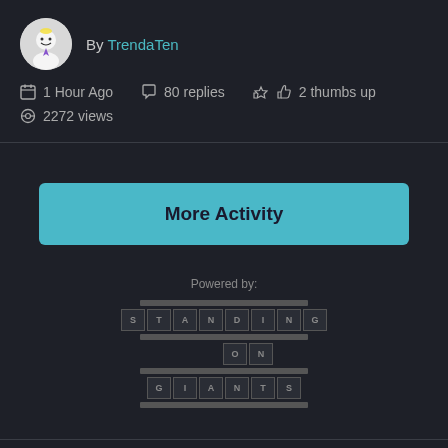By TrendaTen
1 Hour Ago  80 replies  2 thumbs up  2272 views
More Activity
[Figure (logo): Powered by: Standing on Giants logo — letter tiles arranged in a crossword-style grid spelling STANDING ON GIANTS]
© 2022 Lenovo. All rights reserved
Privacy Policy | Lenovo.com